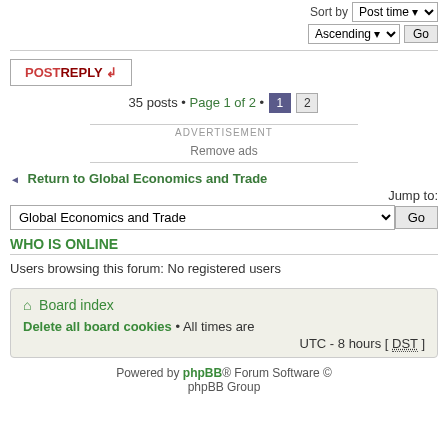Sort by  Post time  Ascending  Go
POSTREPLY
35 posts • Page 1 of 2 • 1 2
ADVERTISEMENT
Remove ads
Return to Global Economics and Trade
Jump to: Global Economics and Trade  Go
WHO IS ONLINE
Users browsing this forum: No registered users
Board index
Delete all board cookies • All times are UTC - 8 hours [ DST ]
Powered by phpBB® Forum Software © phpBB Group